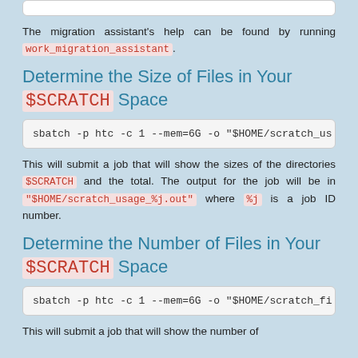The migration assistant's help can be found by running work_migration_assistant.
Determine the Size of Files in Your $SCRATCH Space
sbatch -p htc -c 1 --mem=6G -o "$HOME/scratch_us
This will submit a job that will show the sizes of the directories $SCRATCH and the total. The output for the job will be in "$HOME/scratch_usage_%j.out" where %j is a job ID number.
Determine the Number of Files in Your $SCRATCH Space
sbatch -p htc -c 1 --mem=6G -o "$HOME/scratch_fi
This will submit a job that will show the number of